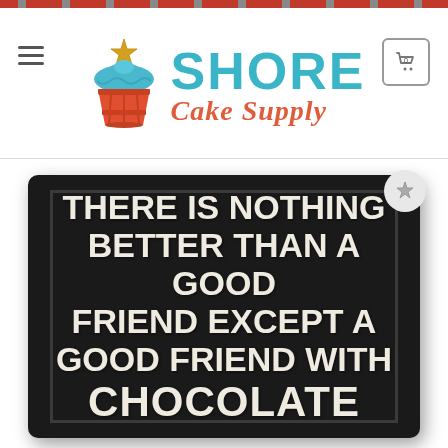[Figure (logo): Shore Cake Supply logo with cupcake graphic, teal SHORE text, and coral italic Cake Supply text]
[Figure (photo): Black wooden sign with cream/off-white text reading: THERE IS NOTHING BETTER THAN A GOOD FRIEND EXCEPT A GOOD FRIEND WITH CHOCOLATE]